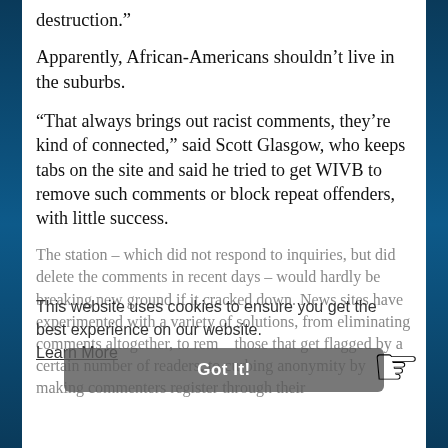destruction.”
Apparently, African-Americans shouldn’t live in the suburbs.
“That always brings out racist comments, they’re kind of connected,” said Scott Glasgow, who keeps tabs on the site and said he tried to get WIVB to remove such comments or block repeat offenders, with little success.
The station – which did not respond to inquiries, but did delete the comments in recent days – would hardly be breaking new ground if it cracked down. News sites have experimented with a variety of solutions, from eliminating comments altogether, to removing those that get flagged by a certain number of readers, to curbing anonymity by making commenters register through their
This website uses cookies to ensure you get the best experience on our website.
Learn More
Got It!